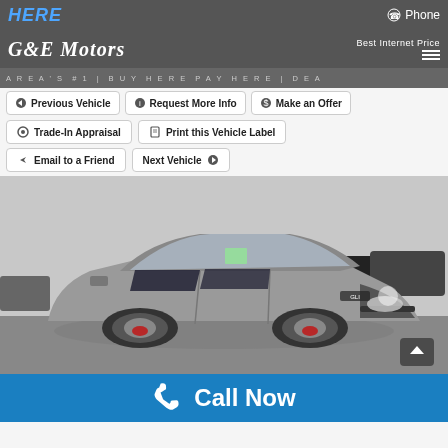HERE | Phone
G&E Motors | Best Internet Price
AREA'S #1 | BUY HERE PAY HERE | DEA
Previous Vehicle
Request More Info
Make an Offer
Trade-In Appraisal
Print this Vehicle Label
Email to a Friend
Next Vehicle
[Figure (photo): Gray Volkswagen Jetta GLI sedan parked in a dealership lot, front three-quarter view, with other cars visible in the background]
Call Now